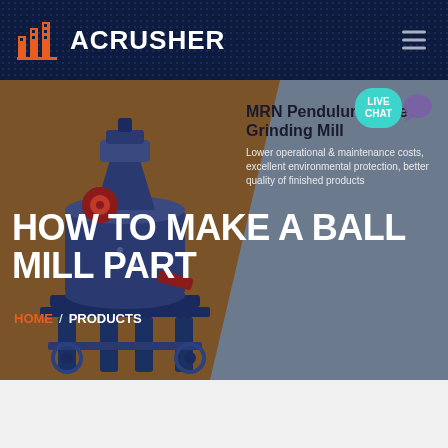ACRUSHER
HOW TO MAKE A BALL MILL PART
MRN Pendulum Roller Grinding Mill
Lower operational & maintenance costs, excellent environmental protection, better quality of finished products
HOME / PRODUCTS
[Figure (illustration): Industrial ball mill / grinding machine illustration rendered in blue and dark tones on a brown background]
[Figure (illustration): Live Chat button bubble in teal with speech bubble icon in purple]